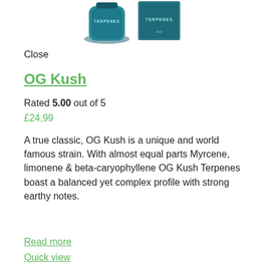[Figure (photo): Product photo showing a teal/blue cylindrical terpenes bottle and a matching box with 'TERPENES' text visible, on a white background.]
Close
OG Kush
Rated 5.00 out of 5
£24,99
A true classic, OG Kush is a unique and world famous strain. With almost equal parts Myrcene, limonene & beta-caryophyllene OG Kush Terpenes boast a balanced yet complex profile with strong earthy notes.
Read more
Quick view